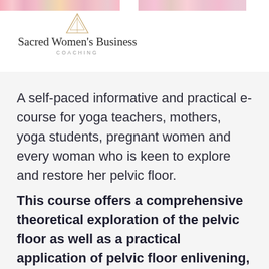Sacred Women's Business COACHING
A self-paced informative and practical e-course for yoga teachers, mothers, yoga students, pregnant women and every woman who is keen to explore and restore her pelvic floor.
This course offers a comprehensive theoretical exploration of the pelvic floor as well as a practical application of pelvic floor enlivening, awareness and restoration.